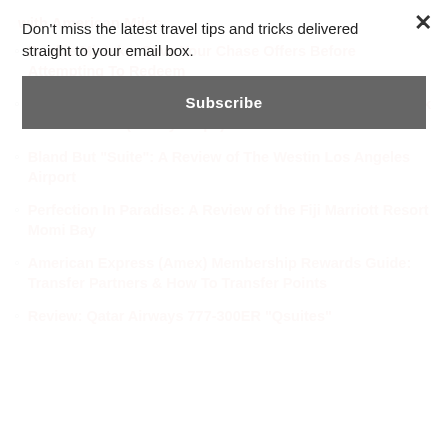Don't miss the latest travel tips and tricks delivered straight to your email box.
Subscribe
with American Miles
Rookie Mistake: Save Your Chase Offers Before Attempting To Redeem
How To Remove A Closed Credit Card From Your Citi Bank Online Profile (3 Easy Steps)
Bland But "Suite": A Review of The Westin Los Angeles Airport
Perfection In Paradise: A Review of the Fiji Marriott Resort Momi Bay
American Express (Amex) Membership Rewards Guide: Transfer Partners & How To Transfer Points
Review: Qatar Airways 777-300ER "Qsuites"